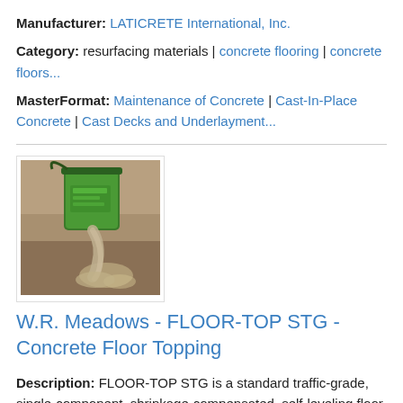Manufacturer: LATICRETE International, Inc.
Category: resurfacing materials | concrete flooring | concrete floors...
MasterFormat: Maintenance of Concrete | Cast-In-Place Concrete | Cast Decks and Underlayment...
[Figure (photo): Photo of green bucket pouring concrete/self-leveling compound onto a floor surface]
W.R. Meadows - FLOOR-TOP STG - Concrete Floor Topping
Description: FLOOR-TOP STG is a standard traffic-grade, single-component, shrinkage-compensated, self-leveling floor topping and underlayment that produces a smooth, hard...